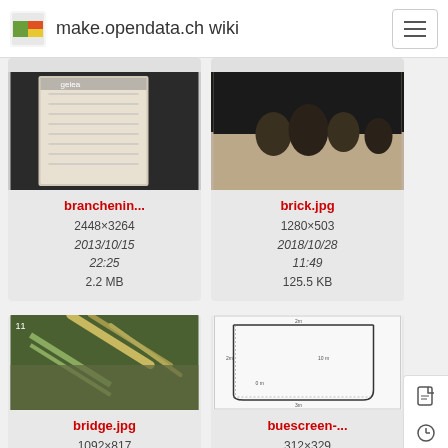make.opendata.ch wiki
[Figure (screenshot): Wiki file listing showing image cards for branchenin... and brick.jpg, followed by bridge.jpg and buescreen-...]
branchenin...
2448×3264
2013/10/15 22:25
2.2 MB
brick.jpg
1280×503
2018/10/28 11:49
125.5 KB
bridge.jpg
1092×817
2016/07/02
buescreen-...
312×329
2019/09/07